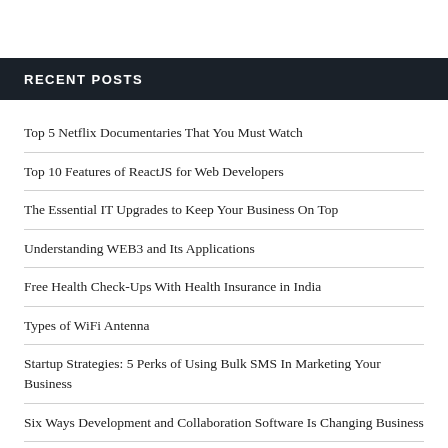RECENT POSTS
Top 5 Netflix Documentaries That You Must Watch
Top 10 Features of ReactJS for Web Developers
The Essential IT Upgrades to Keep Your Business On Top
Understanding WEB3 and Its Applications
Free Health Check-Ups With Health Insurance in India
Types of WiFi Antenna
Startup Strategies: 5 Perks of Using Bulk SMS In Marketing Your Business
Six Ways Development and Collaboration Software Is Changing Business